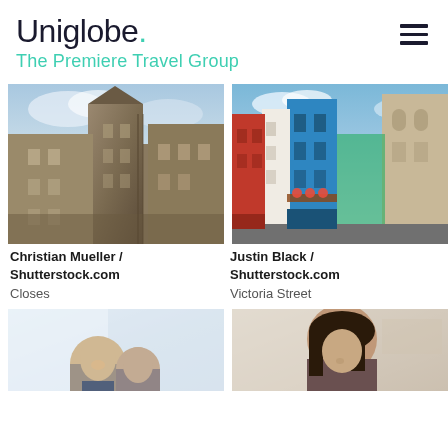Uniglobe. The Premiere Travel Group
[Figure (photo): Photo of historic stone castle/closes buildings in Edinburgh, shot looking up at towers and turrets against a blue sky. Credit: Christian Mueller / Shutterstock.com, Closes]
[Figure (photo): Photo of colorful shopfronts on Victoria Street Edinburgh, with blue, pink and white buildings, shot at an angle. Credit: Justin Black / Shutterstock.com, Victoria Street]
Christian Mueller / Shutterstock.com
Closes
Justin Black / Shutterstock.com
Victoria Street
[Figure (photo): Photo of two people (man and woman) in an office or meeting setting, partially visible, cropped at bottom of page.]
[Figure (photo): Photo of a woman with dark hair looking down, possibly reading or writing, cropped at bottom of page.]